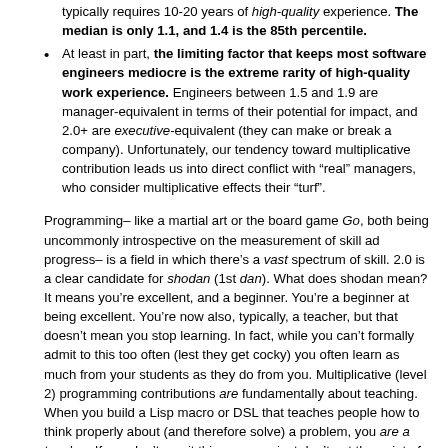typically requires 10-20 years of high-quality experience. The median is only 1.1, and 1.4 is the 85th percentile.
At least in part, the limiting factor that keeps most software engineers mediocre is the extreme rarity of high-quality work experience. Engineers between 1.5 and 1.9 are manager-equivalent in terms of their potential for impact, and 2.0+ are executive-equivalent (they can make or break a company). Unfortunately, our tendency toward multiplicative contribution leads us into direct conflict with “real” managers, who consider multiplicative effects their “turf”.
Programming– like a martial art or the board game Go, both being uncommonly introspective on the measurement of skill ad progress– is a field in which there’s a vast spectrum of skill. 2.0 is a clear candidate for shodan (1st dan). What does shodan mean? It means you’re excellent, and a beginner. You’re a beginner at being excellent. You’re now also, typically, a teacher, but that doesn’t mean you stop learning. In fact, while you can’t formally admit to this too often (lest they get cocky) you often learn as much from your students as they do from you. Multiplicative (level 2) programming contributions are fundamentally about teaching. When you build a Lisp macro or DSL that teaches people how to think properly about (and therefore solve) a problem, you are a teacher. If you don’t see it this way, you just don’t get the point of programming. It’s about instructing computers while teaching humans how the systems work.